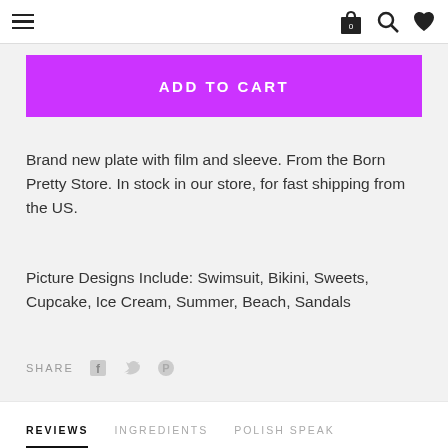hamburger menu, shopping bag (0), search, heart icons
ADD TO CART
Brand new plate with film and sleeve. From the Born Pretty Store. In stock in our store, for fast shipping from the US.
Picture Designs Include: Swimsuit, Bikini, Sweets, Cupcake, Ice Cream, Summer, Beach, Sandals
SHARE
REVIEWS   INGREDIENTS   POLISH SPEAK